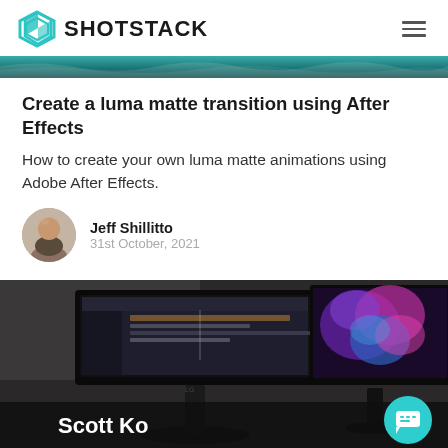SHOTSTACK
[Figure (photo): Teal/ocean wave decorative banner image at top]
Create a luma matte transition using After Effects
How to create your own luma matte animations using Adobe After Effects.
Jeff Shillitto
31st October, 2021
[Figure (photo): Computer monitor setup on a desk showing video editing software, with a colorful smoke/abstract art display on a second monitor. Text overlay reads 'Scott Ko' at the bottom. A teal chat bubble icon is visible in the bottom right corner.]